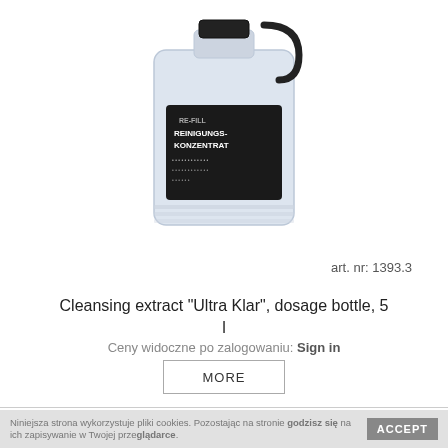[Figure (photo): A white/light blue 5-liter plastic jerrycan/canister with a black label reading 'RE-FILL REINIGUNGS-KONZENTRAT' and a black handle cap on top]
art. nr: 1393.3
Cleansing extract "Ultra Klar", dosage bottle, 5 l
Ceny widoczne po zalogowaniu: Sign in
MORE
Niniejsza strona wykorzystuje pliki cookies. Pozostając na stronie godzisz się na ich zapisywanie w Twojej przeglądarce.
ACCEPT